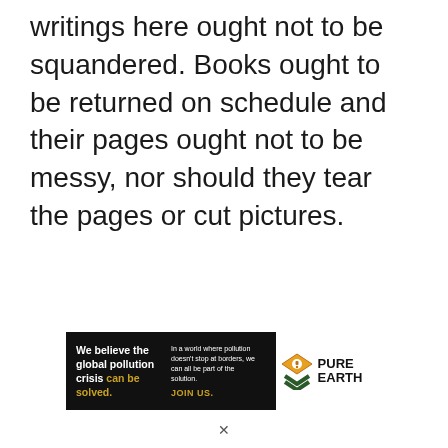writings here ought not to be squandered. Books ought to be returned on schedule and their pages ought not to be messy, nor should they tear the pages or cut pictures.
[Figure (infographic): Pure Earth advertisement banner. Black background on left with white bold text: 'We believe the global pollution crisis can be solved.' (with 'can be solved.' in yellow/gold). Center: small white text 'In a world where pollution doesn't stop at borders, we can all be part of the solution.' with 'JOIN US.' in yellow. Right side: white background with diamond-shaped Pure Earth logo in orange/yellow and text 'PURE EARTH' in bold black.]